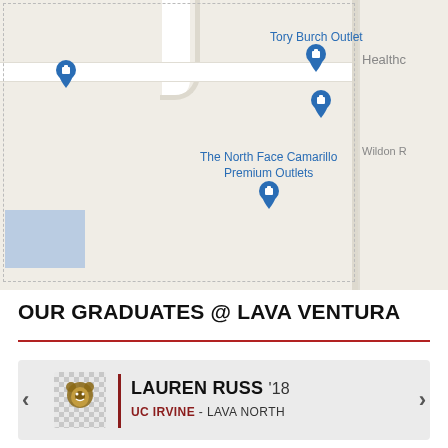[Figure (map): Google Maps screenshot showing Camarillo Premium Outlets area with location pins for Tory Burch Outlet and The North Face Camarillo Premium Outlets, with roads, a blue building block in bottom left, and partial right panel showing 'Healthc' and 'Wildon R' text]
OUR GRADUATES @ LAVA VENTURA
LAUREN RUSS '18 — UC IRVINE - LAVA NORTH